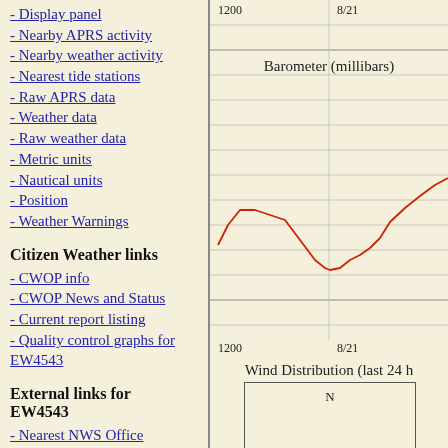- Display panel
- Nearby APRS activity
- Nearby weather activity
- Nearest tide stations
- Raw APRS data
- Weather data
- Raw weather data
- Metric units
- Nautical units
- Position
- Weather Warnings
Citizen Weather links
- CWOP info
- CWOP News and Status
- Current report listing
- Quality control graphs for EW4543
External links for EW4543
- Nearest NWS Office
[Figure (continuous-plot): Barometer (millibars) line chart showing pressure trend. X-axis labeled 1200 and 8/21. Red line showing a rise, dip, and rise pattern.]
Barometer (millibars)
[Figure (other): Wind Distribution (last 24 h) polar/compass chart with N label visible at top.]